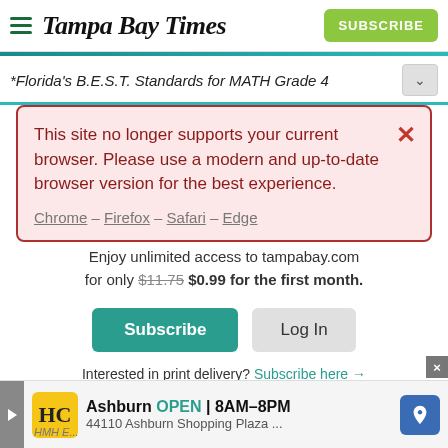Tampa Bay Times — SUBSCRIBE
*Florida's B.E.S.T. Standards for MATH Grade 4
This site no longer supports your current browser. Please use a modern and up-to-date browser version for the best experience.
Chrome – Firefox – Safari – Edge
Enjoy unlimited access to tampabay.com for only $11.75 $0.99 for the first month.
Subscribe  Log In
Interested in print delivery? Subscribe here →
[Figure (screenshot): Advertisement bar showing HC logo, Ashburn OPEN 8AM-8PM, 44110 Ashburn Shopping Plaza...]